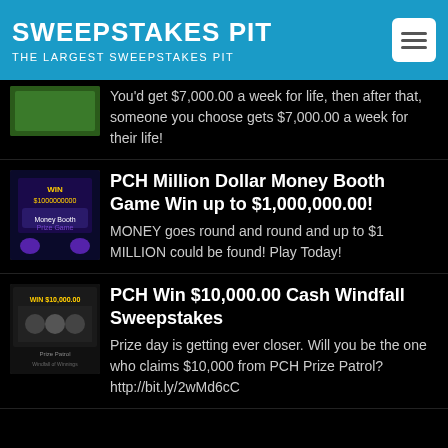SWEEPSTAKES PIT | THE LARGEST SWEEPSTAKES PIT
You'd get $7,000.00 a week for life, then after that, someone you choose gets $7,000.00 a week for their life!
PCH Million Dollar Money Booth Game Win up to $1,000,000.00!
MONEY goes round and round and up to $1 MILLION could be found! Play Today!
PCH Win $10,000.00 Cash Windfall Sweepstakes
Prize day is getting ever closer. Will you be the one who claims $10,000 from PCH Prize Patrol? http://bit.ly/2wMd6cC